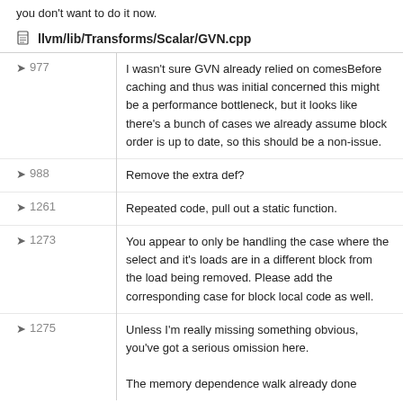you don't want to do it now.
llvm/lib/Transforms/Scalar/GVN.cpp
| Line | Comment |
| --- | --- |
| 977 | I wasn't sure GVN already relied on comesBefore caching and thus was initial concerned this might be a performance bottleneck, but it looks like there's a bunch of cases we already assume block order is up to date, so this should be a non-issue. |
| 988 | Remove the extra def? |
| 1261 | Repeated code, pull out a static function. |
| 1273 | You appear to only be handling the case where the select and it's loads are in a different block from the load being removed. Please add the corresponding case for block local code as well. |
| 1275 | Unless I'm really missing something obvious, you've got a serious omission here.

The memory dependence walk already done |